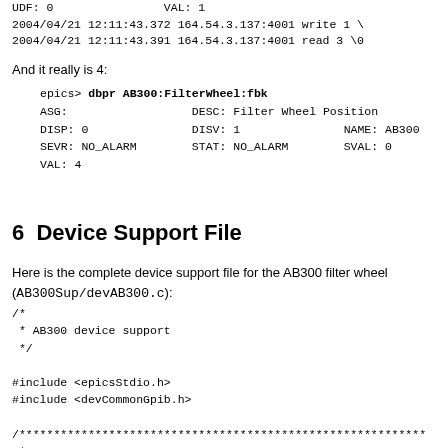UDF: 0                VAL: 1
2004/04/21 12:11:43.372 164.54.3.137:4001 write 1 \
2004/04/21 12:11:43.391 164.54.3.137:4001 read 3 \0
And it really is 4:
epics> dbpr AB300:FilterWheel:fbk
ASG:                  DESC: Filter Wheel Position
DISP: 0               DISV: 1               NAME: AB300
SEVR: NO_ALARM        STAT: NO_ALARM        SVAL: 0
VAL: 4
6  Device Support File
Here is the complete device support file for the AB300 filter wheel (AB300Sup/devAB300.c):
/*
 * AB300 device support
 */

#include <epicsStdio.h>
#include <devCommonGpib.h>

/***********************************************************
 *
 * The following define statements are used to declare th
 * for the dset tables.